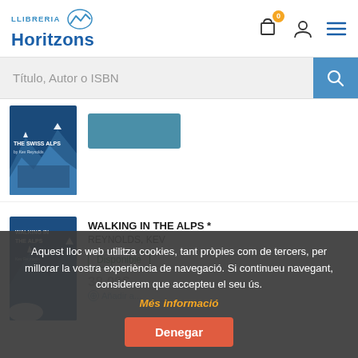LLIBRERIA Horitzons
Título, Autor o ISBN
[Figure (photo): Book cover: THE SWISS ALPS by Kev Reynolds, showing alpine lake and mountains with blue cover]
[Figure (photo): Book cover: WALKING IN THE ALPS by Kev Reynolds, blue cover with mountain scene and Kev Reynolds author name]
WALKING IN THE ALPS *
REYNOLDS, KEV
Disponible
Aquest lloc web utilitza cookies, tant pròpies com de tercers, per millorar la vostra experiència de navegació. Si continueu navegant, considerem que accepteu el seu ús.
Més informació
Denegar